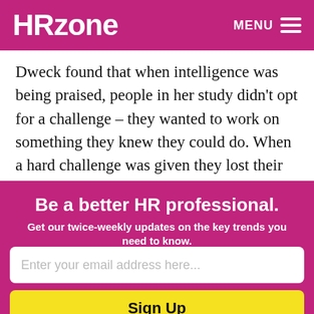HRzone  MENU
Dweck found that when intelligence was being praised, people in her study didn't opt for a challenge – they wanted to work on something they knew they could do. When a hard challenge was given they lost their confidence, and their
Be a better HR professional.
Get our twice-weekly updates on the key trends you need to know.
Enter your email address here...
Sign Up